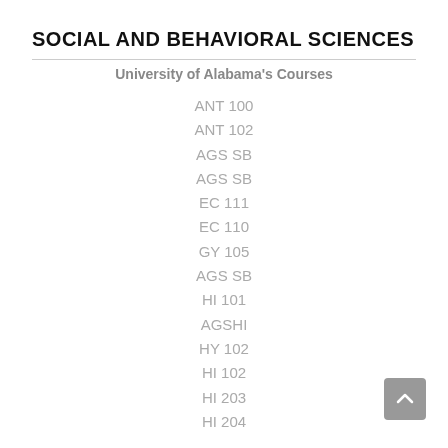SOCIAL AND BEHAVIORAL SCIENCES
University of Alabama's Courses
ANT 100
ANT 102
AGS SB
AGS SB
EC 111
EC 110
GY 105
AGS SB
HI 101
AGSHI
HY 102
HI 102
HI 203
HI 204